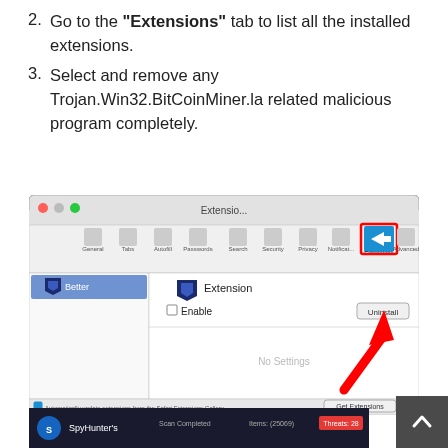2. Go to the "Extensions" tab to list all the installed extensions.
3. Select and remove any Trojan.Win32.BitCoinMiner.la related malicious program completely.
[Figure (screenshot): Screenshot of Safari browser Extensions preferences panel on macOS, showing Extensions tab highlighted with a red rectangle, an extension listed with Enable checkbox and Uninstall button, a red arrow pointing to the Uninstall button, and 'No Settings' text in the main area. Bottom bar shows 'Automatically update extensions from the Safari Extensions Gallery' checkbox and 'Get Extensions' button.]
[Figure (screenshot): Partial screenshot at bottom of page showing what appears to be Spyhunter scan results interface with dark background.]